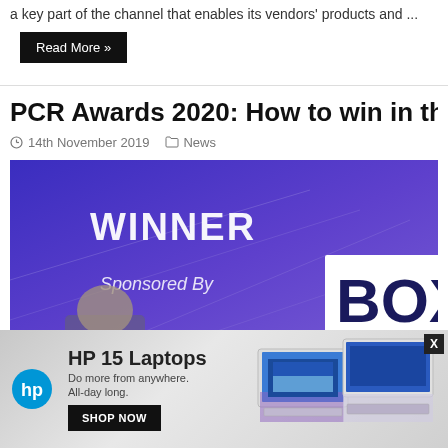a key part of the channel that enables its vendors' products and ...
Read More »
PCR Awards 2020: How to win in the Re
14th November 2019   News
[Figure (photo): Photo from PCR Awards 2020 event showing a stage backdrop with 'WINNER', 'Sponsored By', 'CMS', and 'BOX' text on a purple/blue background, with a man visible in the foreground.]
[Figure (infographic): HP advertisement banner showing HP logo, 'HP 15 Laptops', 'Do more from anywhere. All-day long.', 'SHOP NOW' button, and images of HP laptops. X close button in top-right corner.]